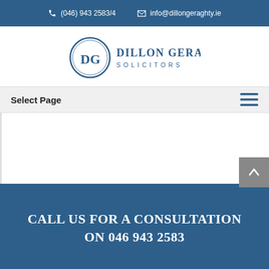(046) 943 2583/4   info@dillongeraghty.ie
[Figure (logo): Dillon Geraghty & Co Solicitors logo with circular DG emblem]
Select Page
CALL US FOR A CONSULTATION ON 046 943 2583